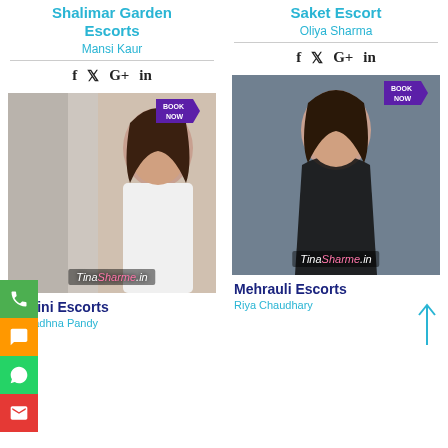Shalimar Garden Escorts
Mansi Kaur
Saket Escort
Oliya Sharma
[Figure (photo): Woman in white dress, book now badge, watermark TinaSharme.in]
[Figure (photo): Woman in black outfit, book now badge, watermark TinaSharme.in]
Rohini Escorts
Aareadhna Pandy
Mehrauli Escorts
Riya Chaudhary